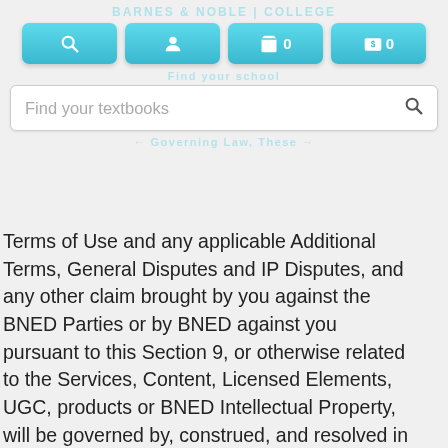[Figure (screenshot): Website header with navigation buttons (search, account, cart with 0, dollar cart with 0) and a search bar saying 'Find your textbooks']
Terms of Use and any applicable Additional Terms, General Disputes and IP Disputes, and any other claim brought by you against the BNED Parties or by BNED against you pursuant to this Section 9, or otherwise related to the Services, Content, Licensed Elements, UGC, products or BNED Intellectual Property, will be governed by, construed, and resolved in accordance with, the